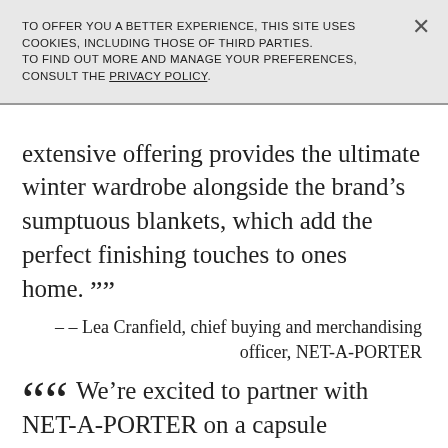TO OFFER YOU A BETTER EXPERIENCE, THIS SITE USES COOKIES, INCLUDING THOSE OF THIRD PARTIES.
TO FIND OUT MORE AND MANAGE YOUR PREFERENCES, CONSULT THE PRIVACY POLICY.
extensive offering provides the ultimate winter wardrobe alongside the brand’s sumptuous blankets, which add the perfect finishing touches to ones home. ””
– – Lea Cranfield, chief buying and merchandising officer, NET-A-PORTER
““ We’re excited to partner with NET-A-PORTER on a capsule collection of women’s ready-to-wear and accessories designed to